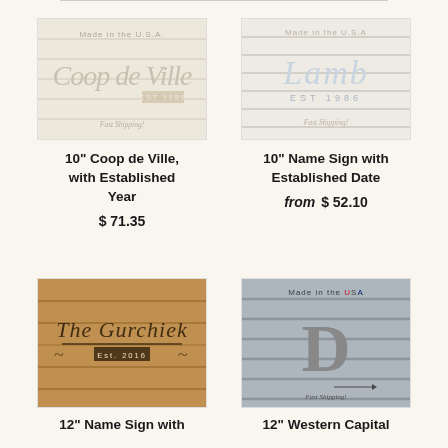[Figure (photo): Wooden sign reading 'Coop de Ville' with 'Made in the U.S.A.' and 'Fast Shipping!' text, cream/white wood background]
[Figure (photo): Wooden sign reading 'Lamb EST 1986' with 'Made in the U.S.A.' and 'Fast Shipping!' text, white shiplap background]
10" Coop de Ville, with Established Year
10" Name Sign with Established Date
$ 71.35
from $ 52.10
[Figure (photo): Metal wire sign reading 'The Gurchiek Est. 2016' mounted on natural wood plank background]
[Figure (photo): Wooden sign with large letter 'D' and 'Made in the USA' and 'Fast Shipping!' text on gray shiplap background]
12" Name Sign with
12" Western Capital